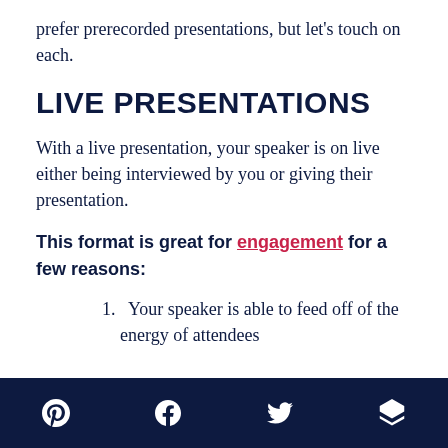prefer prerecorded presentations, but let's touch on each.
LIVE PRESENTATIONS
With a live presentation, your speaker is on live either being interviewed by you or giving their presentation.
This format is great for engagement for a few reasons:
Your speaker is able to feed off of the energy of attendees
Social media icons: Pinterest, Facebook, Twitter, Buffer